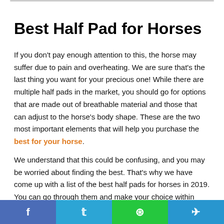Best Half Pad for Horses
If you don't pay enough attention to this, the horse may suffer due to pain and overheating. We are sure that's the last thing you want for your precious one! While there are multiple half pads in the market, you should go for options that are made out of breathable material and those that can adjust to the horse's body shape. These are the two most important elements that will help you purchase the best for your horse.
We understand that this could be confusing, and you may be worried about finding the best. That's why we have come up with a list of the best half pads for horses in 2019. You can go through them and make your choice within minutes!